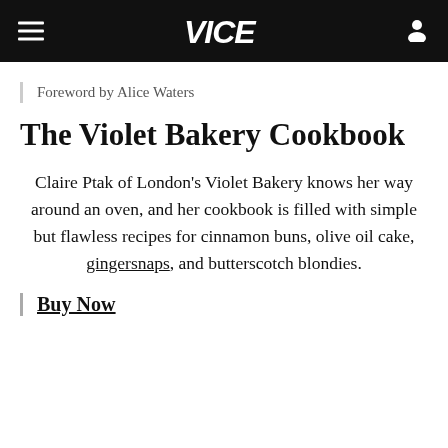VICE
Foreword by Alice Waters
The Violet Bakery Cookbook
Claire Ptak of London's Violet Bakery knows her way around an oven, and her cookbook is filled with simple but flawless recipes for cinnamon buns, olive oil cake, gingersnaps, and butterscotch blondies.
Buy Now